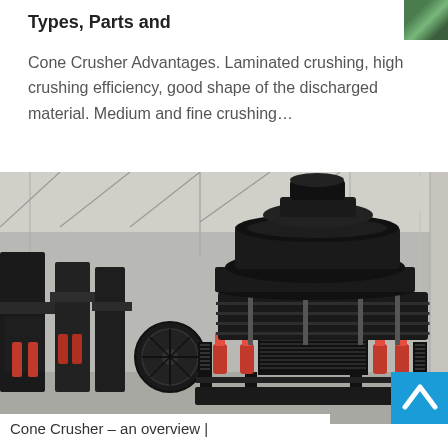Types, Parts and
Cone Crusher Advantages. Laminated crushing, high crushing efficiency, good shape of the discharged material. Medium and fine crushing…
[Figure (photo): A large cone crusher machine displayed in an industrial warehouse setting. The crusher is predominantly dark gray/black with red hydraulic cylinders at the base, coil springs around the mid-section, and a large flywheel pulley to the left. Additional equipment is visible in the background on the left side of the warehouse.]
Cone Crusher – an overview |